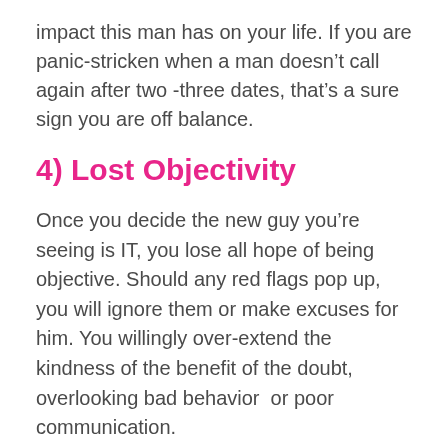impact this man has on your life. If you are panic-stricken when a man doesn’t call again after two -three dates, that’s a sure sign you are off balance.
4) Lost Objectivity
Once you decide the new guy you’re seeing is IT, you lose all hope of being objective. Should any red flags pop up, you will ignore them or make excuses for him. You willingly over-extend the kindness of the benefit of the doubt, overlooking bad behavior  or poor communication.
You are totally smitten and if you’re